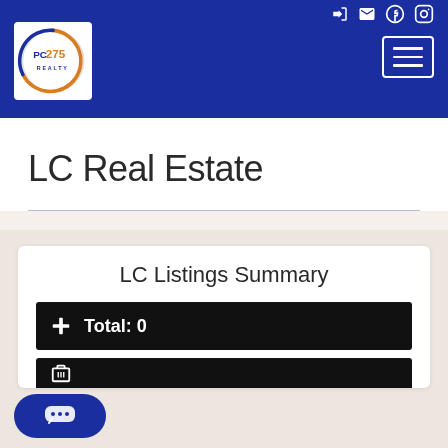[Figure (logo): PC275 Realty logo in a white square box inside the blue header]
LC Real Estate
LC Listings Summary
Total: 0